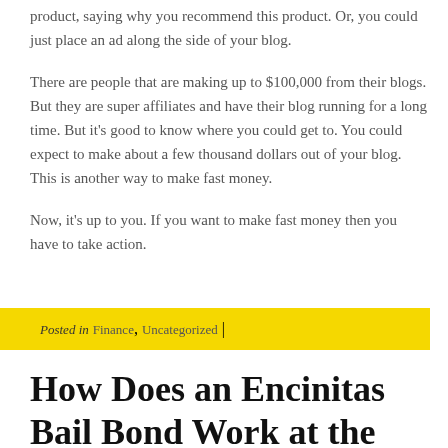product, saying why you recommend this product. Or, you could just place an ad along the side of your blog.
There are people that are making up to $100,000 from their blogs. But they are super affiliates and have their blog running for a long time. But it's good to know where you could get to. You could expect to make about a few thousand dollars out of your blog. This is another way to make fast money.
Now, it's up to you. If you want to make fast money then you have to take action.
Posted in Finance, Uncategorized |
How Does an Encinitas Bail Bond Work at the Vista Jail?